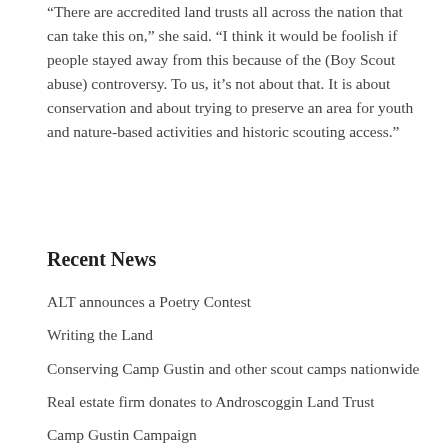“There are accredited land trusts all across the nation that can take this on,” she said. “I think it would be foolish if people stayed away from this because of the (Boy Scout abuse) controversy. To us, it’s not about that. It is about conservation and about trying to preserve an area for youth and nature-based activities and historic scouting access.”
Recent News
ALT announces a Poetry Contest
Writing the Land
Conserving Camp Gustin and other scout camps nationwide
Real estate firm donates to Androscoggin Land Trust
Camp Gustin Campaign